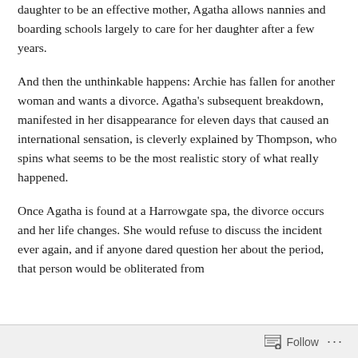daughter to be an effective mother, Agatha allows nannies and boarding schools largely to care for her daughter after a few years.
And then the unthinkable happens: Archie has fallen for another woman and wants a divorce. Agatha’s subsequent breakdown, manifested in her disappearance for eleven days that caused an international sensation, is cleverly explained by Thompson, who spins what seems to be the most realistic story of what really happened.
Once Agatha is found at a Harrowgate spa, the divorce occurs and her life changes. She would refuse to discuss the incident ever again, and if anyone dared question her about the period, that person would be obliterated from
Follow ···